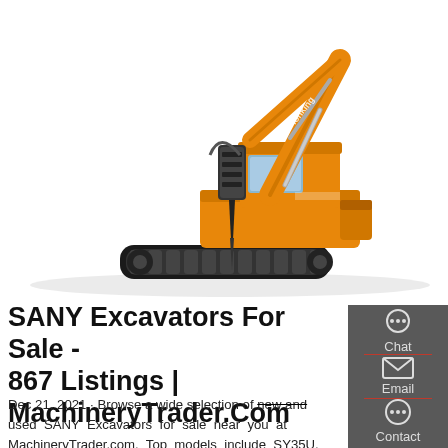[Figure (photo): Yellow SANY excavator with hydraulic breaker attachment on white background]
SANY Excavators For Sale - 867 Listings | MachineryTrader.Com
Dec 21, 2021 · Browse a wide selection of new and used SANY Excavators for sale near you at MachineryTrader.com. Top models include SY35U,